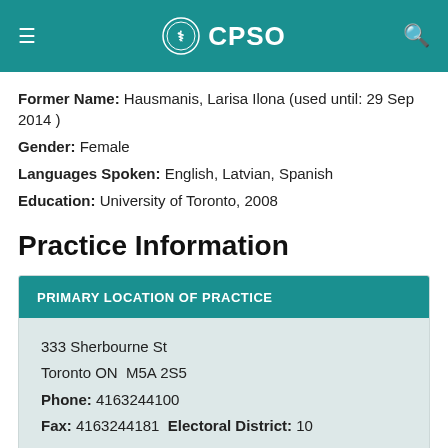CPSO
Former Name: Hausmanis, Larisa Ilona (used until: 29 Sep 2014 )
Gender: Female
Languages Spoken: English, Latvian, Spanish
Education: University of Toronto, 2008
Practice Information
| PRIMARY LOCATION OF PRACTICE |
| --- |
| 333 Sherbourne St |
| Toronto ON  M5A 2S5 |
| Phone: 4163244100 |
| Fax: 4163244181  Electoral District: 10 |
VIEW MORE PRACTICE LOCATIONS